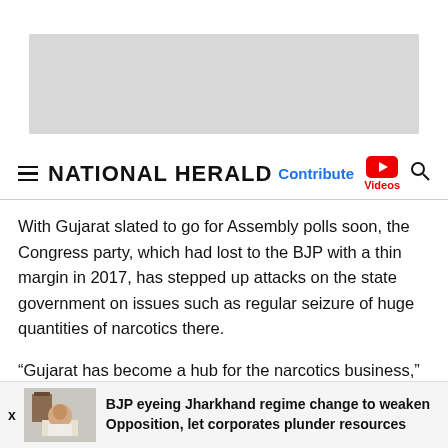[Figure (other): Grey advertisement banner placeholder]
NATIONAL HERALD — with Contribute, Videos, and Search navigation
With Gujarat slated to go for Assembly polls soon, the Congress party, which had lost to the BJP with a thin margin in 2017, has stepped up attacks on the state government on issues such as regular seizure of huge quantities of narcotics there.
“Gujarat has become a hub for the narcotics business,” said Congress general secretary KC Venugopal, who was in Gujarat on Wednesday to supervise the preparations for the forthcoming elections, while addressing a press conference in Ahmedabad
BJP eyeing Jharkhand regime change to weaken Opposition, let corporates plunder resources